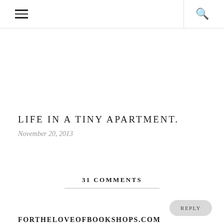☰  🔍
LIFE IN A TINY APARTMENT.
November 20, 2013
31 COMMENTS
REPLY
FORTHELOVEOFBOOKSHOPS.COM